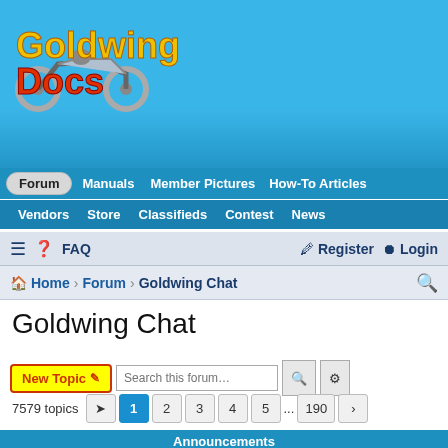[Figure (logo): GoldwingDocs website logo with motorcycle image and stylized text]
Forum | Manuals | Member Pictures | How-To Articles | Vendors | Store | Classifieds | Contest | News
FAQ | Register | Login
Home › Forum › Goldwing Chat
Goldwing Chat
New Topic 🖊 Search this forum…
7579 topics  1 2 3 4 5 ... 190 ›
Announcements
Is your email address up to date? Here's how to check, and how to change it!